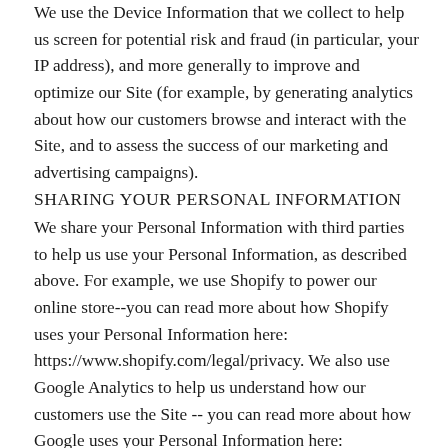We use the Device Information that we collect to help us screen for potential risk and fraud (in particular, your IP address), and more generally to improve and optimize our Site (for example, by generating analytics about how our customers browse and interact with the Site, and to assess the success of our marketing and advertising campaigns).
SHARING YOUR PERSONAL INFORMATION
We share your Personal Information with third parties to help us use your Personal Information, as described above. For example, we use Shopify to power our online store--you can read more about how Shopify uses your Personal Information here: https://www.shopify.com/legal/privacy. We also use Google Analytics to help us understand how our customers use the Site -- you can read more about how Google uses your Personal Information here: https://www.google.com/intl/en/policies/privacy/. You can also opt out of Google Analytics here: